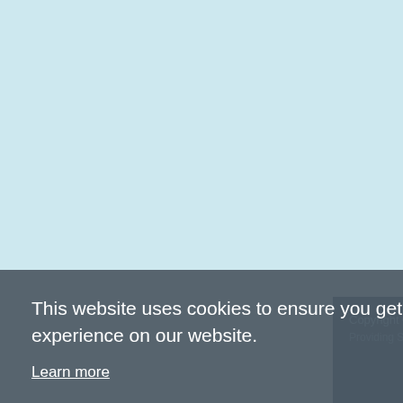[Figure (logo): IBM logo in black rectangle]
Depuis plusieurs mois, critique. Après quelque même, Wordconverte toute satisfaction. Merc
[Figure (logo): EMC2 - where information lives logo]
Doc' + 'Convert Doc'
This website uses cookies to ensure you get the best experience on our website.
Learn more
Got it!
Copyright © 1999-2022 by Softl
Providing Software Interfaces t
Live Chat Online